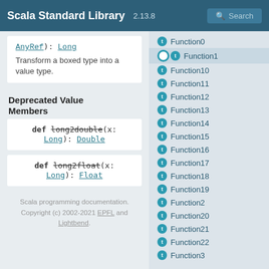Scala Standard Library 2.13.8 Search
AnyRef): Long
Transform a boxed type into a value type.
Deprecated Value Members
def long2double(x: Long): Double
def long2float(x: Long): Float
Scala programming documentation. Copyright (c) 2002-2021 EPFL and Lightbend.
Function0
Function1
Function10
Function11
Function12
Function13
Function14
Function15
Function16
Function17
Function18
Function19
Function2
Function20
Function21
Function22
Function3